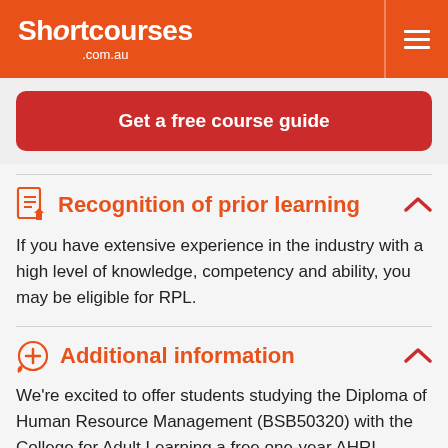Shortcourses .com.au
Get a free course guide
Recognition of prior learning
If you have extensive experience in the industry with a high level of knowledge, competency and ability, you may be eligible for RPL.
Additional information
We're excited to offer students studying the Diploma of Human Resource Management (BSB50320) with the College for Adult Learning a free one-year AHRI Affiliate Membership, valued at $330.